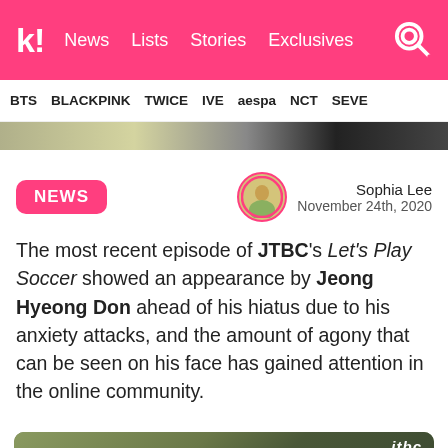k! News  Lists  Stories  Exclusives
BTS  BLACKPINK  TWICE  IVE  aespa  NCT  SEVE
[Figure (screenshot): Banner/hero image strip showing partial photos]
NEWS
Sophia Lee
November 24th, 2020
The most recent episode of JTBC's Let's Play Soccer showed an appearance by Jeong Hyeong Don ahead of his hiatus due to his anxiety attacks, and the amount of agony that can be seen on his face has gained attention in the online community.
[Figure (screenshot): Screenshot from JTBC Let's Play Soccer episode showing outdoor scene with Korean text overlay and JTBC logo]